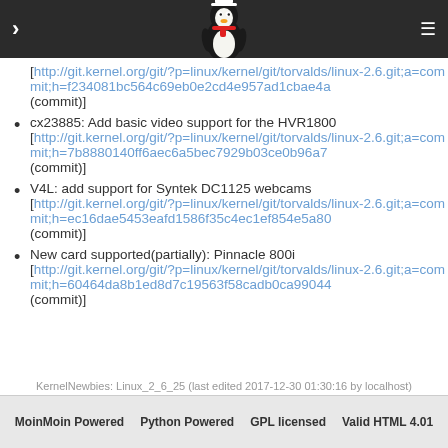KernelNewbies Linux navigation header with Tux logo
[http://git.kernel.org/git/?p=linux/kernel/git/torvalds/linux-2.6.git;a=commit;h=f234081bc564c69eb0e2cd4e957ad1cbae4a (commit)]
cx23885: Add basic video support for the HVR1800 [http://git.kernel.org/git/?p=linux/kernel/git/torvalds/linux-2.6.git;a=commit;h=7b8880140ff6aec6a5bec7929b03ce0b96a7 (commit)]
V4L: add support for Syntek DC1125 webcams [http://git.kernel.org/git/?p=linux/kernel/git/torvalds/linux-2.6.git;a=commit;h=ec16dae5453eafd1586f35c4ec1ef854e5a80 (commit)]
New card supported(partially): Pinnacle 800i [http://git.kernel.org/git/?p=linux/kernel/git/torvalds/linux-2.6.git;a=commit;h=60464da8b1ed8d7c19563f58cadb0ca99044 (commit)]
KernelNewbies: Linux_2_6_25 (last edited 2017-12-30 01:30:16 by localhost)
MoinMoin Powered   Python Powered   GPL licensed   Valid HTML 4.01